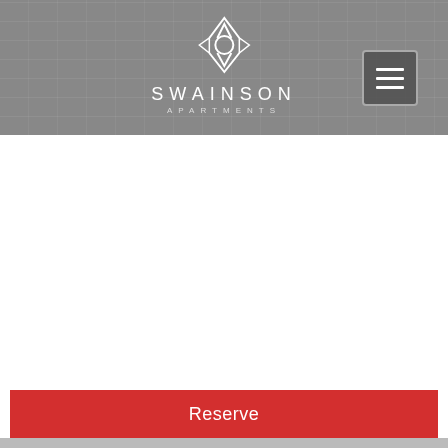[Figure (logo): Swainson Apartments logo with geometric diamond/chevron pattern in white, text 'SWAINSON' and 'APARTMENTS' below]
[Figure (other): Hamburger menu button (three horizontal white lines) on dark grey rounded rectangle background]
[Figure (other): Large white content area/panel below header]
Reserve
[Figure (photo): Light grey textured background visible at the bottom of the page]